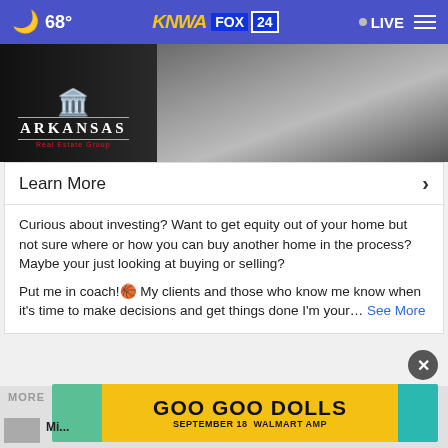68° KNWA FOX24 LIVE
[Figure (photo): Black and white image of a person in a jacket with Arkansas Real Estate Group logo overlay]
Learn More ›
Curious about investing? Want to get equity out of your home but not sure where or how you can buy another home in the process? Maybe your just looking at buying or selling?
Put me in coach!🏀 My clients and those who know me know when it's time to make decisions and get things done I'm your… See More
[Figure (advertisement): GOO GOO DOLLS SEPTEMBER 18 WALMART AMP banner advertisement]
MORE